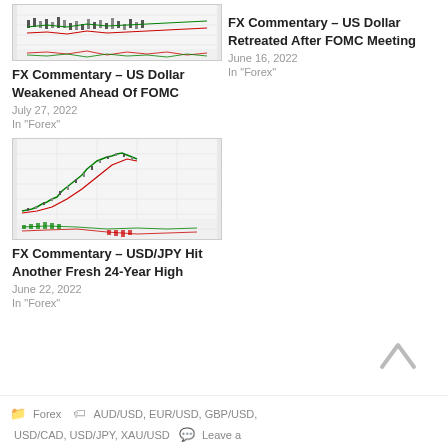[Figure (continuous-plot): FX chart showing candlesticks and moving average lines with oscillator below]
FX Commentary – US Dollar Weakened Ahead Of FOMC
July 27, 2022
In "Forex"
FX Commentary – US Dollar Retreated After FOMC Meeting
June 16, 2022
In "Forex"
[Figure (continuous-plot): FX chart showing USD/JPY price action with candlesticks, moving averages, and oscillator indicators below]
FX Commentary – USD/JPY Hit Another Fresh 24-Year High
June 22, 2022
In "Forex"
Forex   AUD/USD, EUR/USD, GBP/USD, USD/CAD, USD/JPY, XAU/USD   Leave a